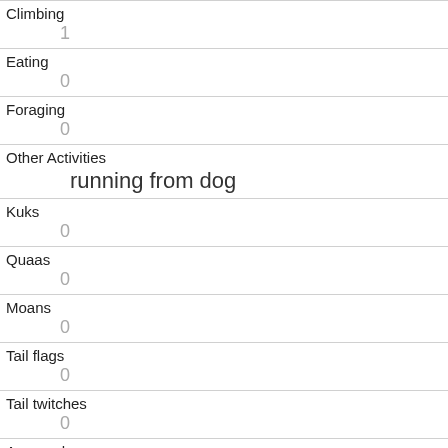| Field | Value |
| --- | --- |
| Climbing | 1 |
| Eating | 0 |
| Foraging | 0 |
| Other Activities | running from dog |
| Kuks | 0 |
| Quaas | 0 |
| Moans | 0 |
| Tail flags | 0 |
| Tail twitches | 0 |
| Approaches | 0 |
| Indifferent |  |